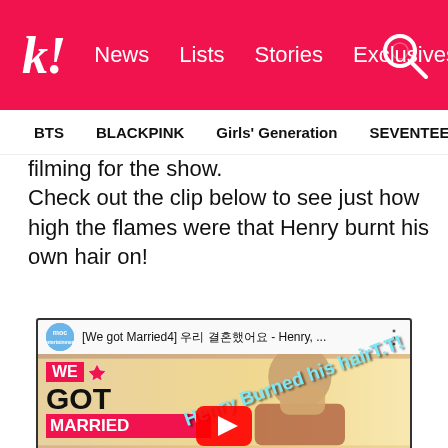k! News  Lists  Stories  Exclusives
BTS  BLACKPINK  Girls' Generation  SEVENTEEN  TWICE
filming for the show.
Check out the clip below to see just how high the flames were that Henry burnt his own hair on!
[Figure (screenshot): Embedded YouTube video thumbnail showing 'We Got Married' TV show clip with text 'Henry Burned his hairT.T!' overlaid on image of a person covering their face. Video title: '[We got Married4] 우리 결혼했어요 - Henry, ...']